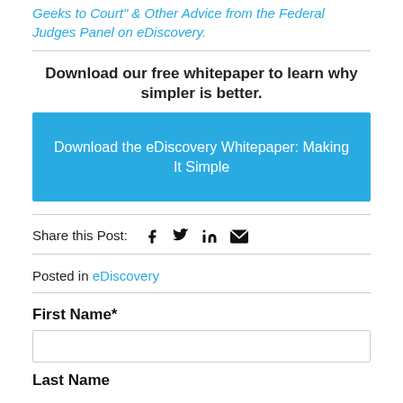Geeks to Court & Other Advice from the Federal Judges Panel on eDiscovery.
Download our free whitepaper to learn why simpler is better.
Download the eDiscovery Whitepaper: Making It Simple
Share this Post:
Posted in eDiscovery
First Name*
Last Name